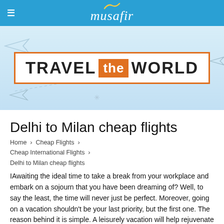musafir
[Figure (illustration): Travel the World banner on light blue background with paper plane decorations]
Delhi to Milan cheap flights
Home › Cheap Flights › Cheap International Flights › Delhi to Milan cheap flights
IAwaiting the ideal time to take a break from your workplace and embark on a sojourn that you have been dreaming of? Well, to say the least, the time will never just be perfect. Moreover, going on a vacation shouldn't be your last priority, but the first one. The reason behind it is simple. A leisurely vacation will help rejuvenate your body as well as your senses. This will help you work with an enhanced vigour once you're back, making the excursion completely worth your while. Given that the frequency of international flights has improved by manifolds, getting your